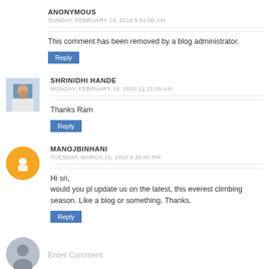ANONYMOUS
SUNDAY, FEBRUARY 14, 2010 5:51:00 AM
This comment has been removed by a blog administrator.
Reply
SHRINIDHI HANDE
MONDAY, FEBRUARY 15, 2010 11:21:00 AM
Thanks Ram
Reply
MANOJBINHANI
TUESDAY, MARCH 16, 2010 6:39:00 PM
Hi sri,
would you pl update us on the latest, this everest climbing season. Like a blog or something. Thanks.
Reply
Enter Comment